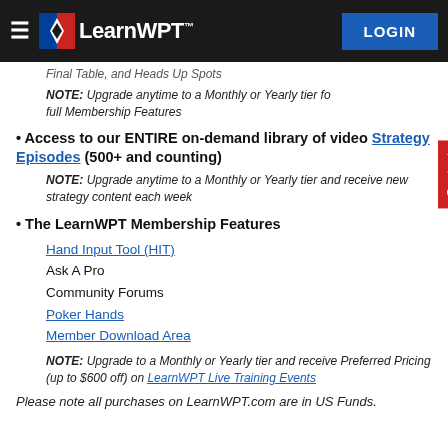LearnWPT — LOGIN
Final Table, and Heads Up Spots
NOTE: Upgrade anytime to a Monthly or Yearly tier for full Membership Features
Access to our ENTIRE on-demand library of video Strategy Episodes (500+ and counting)
NOTE: Upgrade anytime to a Monthly or Yearly tier and receive new strategy content each week
The LearnWPT Membership Features
Hand Input Tool (HIT)
Ask A Pro
Community Forums
Poker Hands
Member Download Area
NOTE: Upgrade to a Monthly or Yearly tier and receive Preferred Pricing (up to $600 off) on LearnWPT Live Training Events
Please note all purchases on LearnWPT.com are in US Funds.